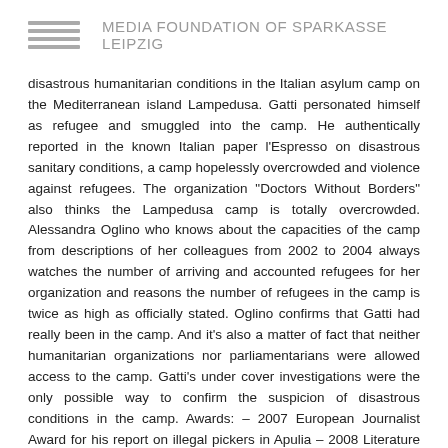MEDIA FOUNDATION OF SPARKASSE LEIPZIG
disastrous humanitarian conditions in the Italian asylum camp on the Mediterranean island Lampedusa. Gatti personated himself as refugee and smuggled into the camp. He authentically reported in the known Italian paper l'Espresso on disastrous sanitary conditions, a camp hopelessly overcrowded and violence against refugees. The organization "Doctors Without Borders" also thinks the Lampedusa camp is totally overcrowded. Alessandra Oglino who knows about the capacities of the camp from descriptions of her colleagues from 2002 to 2004 always watches the number of arriving and accounted refugees for her organization and reasons the number of refugees in the camp is twice as high as officially stated. Oglino confirms that Gatti had really been in the camp. And it's also a matter of fact that neither humanitarian organizations nor parliamentarians were allowed access to the camp. Gatti's under cover investigations were the only possible way to confirm the suspicion of disastrous conditions in the camp. Awards: – 2007 European Journalist Award for his report on illegal pickers in Apulia – 2008 Literature Award Tiziano Terzani for his book Bilal: An illegal on his way to Europe